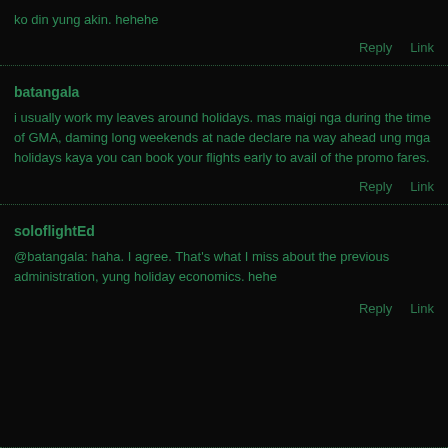ko din yung akin. hehehe
Reply   Link
batangala
i usually work my leaves around holidays. mas maigi nga during the time of GMA, daming long weekends at nade declare na way ahead ung mga holidays kaya you can book your flights early to avail of the promo fares.
Reply   Link
soloflightEd
[Figure (photo): Circular avatar image showing a globe/earth graphic with teal/green colors]
@batangala: haha. I agree. That's what I miss about the previous administration, yung holiday economics. hehe
Reply   Link